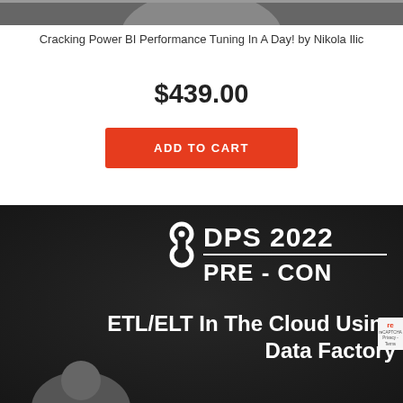[Figure (photo): Top portion of a product image showing a person, partially cropped, with dark/gray background]
Cracking Power BI Performance Tuning In A Day! by Nikola Ilic
$439.00
ADD TO CART
[Figure (photo): Dark background promotional image for DPS 2022 PRE-CON event featuring ETL/ELT In The Cloud Using Data Factory session, with logo and partially visible speaker photo at bottom]